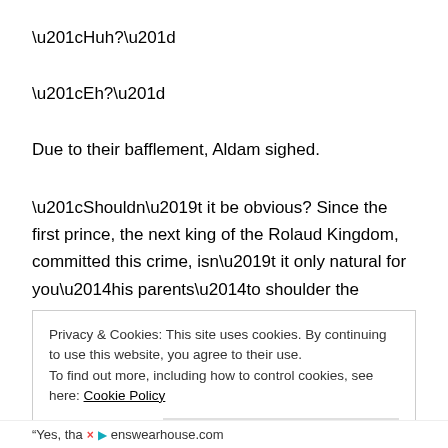“Huh?”
“Eh?”
Due to their bafflement, Aldam sighed.
“Shouldn’t it be obvious? Since the first prince, the next king of the Rolaud Kingdom, committed this crime, isn’t it only natural for you—his parents—to shoulder the responsibility?”
Privacy & Cookies: This site uses cookies. By continuing to use this website, you agree to their use.
To find out more, including how to control cookies, see here: Cookie Policy
Close and accept
“Yes, tha × enswearhouse.com